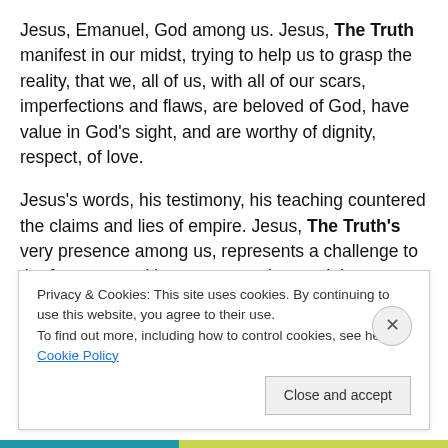Jesus, Emanuel, God among us. Jesus, The Truth manifest in our midst, trying to help us to grasp the reality, that we, all of us, with all of our scars, imperfections and flaws, are beloved of God, have value in God's sight, and are worthy of dignity, respect, of love.
Jesus's words, his testimony, his teaching countered the claims and lies of empire. Jesus, The Truth's very presence among us, represents a challenge to the fear, competition, scapegoating, and the tribalism that fuels and under girds empire — so empire had him killed.
Privacy & Cookies: This site uses cookies. By continuing to use this website, you agree to their use.
To find out more, including how to control cookies, see here: Cookie Policy